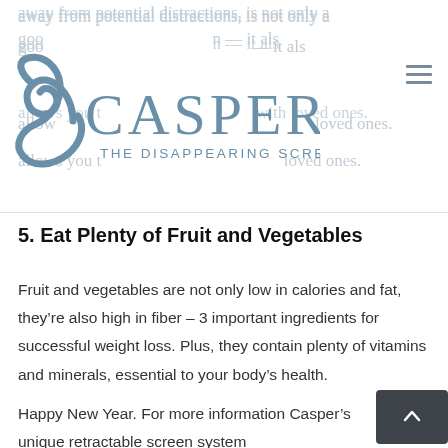away from potential distractions, is not only a good idea to keep your kid on — it also allows you the disappearing screens with loved ones.
[Figure (logo): Casper The Disappearing Screens logo — a stylized blue swirl/scroll icon on the left and the text 'CASPER' in large blue letters with 'THE DISAPPEARING SCREENS' in smaller letters below]
5. Eat Plenty of Fruit and Vegetables
Fruit and vegetables are not only low in calories and fat, they're also high in fiber – 3 important ingredients for successful weight loss. Plus, they contain plenty of vitamins and minerals, essential to your body's health.
Happy New Year. For more information on Casper's unique retractable screen system